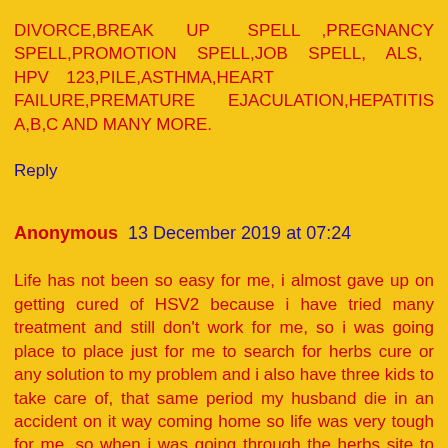DIVORCE,BREAK UP SPELL ,PREGNANCY SPELL,PROMOTION SPELL,JOB SPELL, ALS, HPV 123,PILE,ASTHMA,HEART FAILURE,PREMATURE EJACULATION,HEPATITIS A,B,C AND MANY MORE.
Reply
Anonymous 13 December 2019 at 07:24
Life has not been so easy for me, i almost gave up on getting cured of HSV2 because i have tried many treatment and still don't work for me, so i was going place to place just for me to search for herbs cure or any solution to my problem and i also have three kids to take care of, that same period my husband die in an accident on it way coming home so life was very tough for me, so when i was going through the herbs site to find a cure for my problem i saw a story about a lady testify about DR.Imoudu, so i said to my self let me give a try to see if my problem can be solved, because i have spend alot of money In the hospital and their was no cure for it, so i contacted DR.Imoudu that afternoon of it and he gave me instruction how i will go